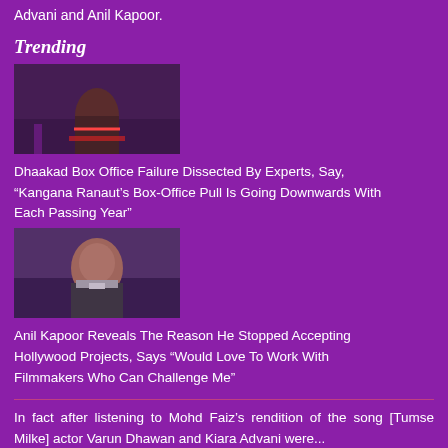Advani and Anil Kapoor.
Trending
[Figure (photo): A female actress in an action pose, crouching in a ruined setting, from the movie Dhaakad]
Dhaakad Box Office Failure Dissected By Experts, Say, “Kangana Ranaut’s Box-Office Pull Is Going Downwards With Each Passing Year”
[Figure (photo): A male actor wearing a suit, looking to the side, appears to be Anil Kapoor]
Anil Kapoor Reveals The Reason He Stopped Accepting Hollywood Projects, Says “Would Love To Work With Filmmakers Who Can Challenge Me”
In fact after listening to Mohd Faiz’s rendition of the song [Tumse Milke] actor Varun Dhawan and Kiara Advani were...